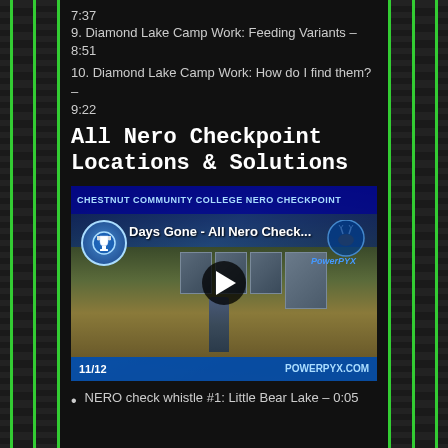7:37
9. Diamond Lake Camp Work: Feeding Variants – 8:51
10. Diamond Lake Camp Work: How do I find them? – 9:22
All Nero Checkpoint Locations & Solutions
[Figure (screenshot): YouTube video thumbnail for 'Days Gone - All Nero Check...' by PowerPyx, showing a game character near military crates at Chestnut Community College Nero Checkpoint, with 11/12 counter and powerpyx.com branding]
NERO check whistle #1: Little Bear Lake – 0:05